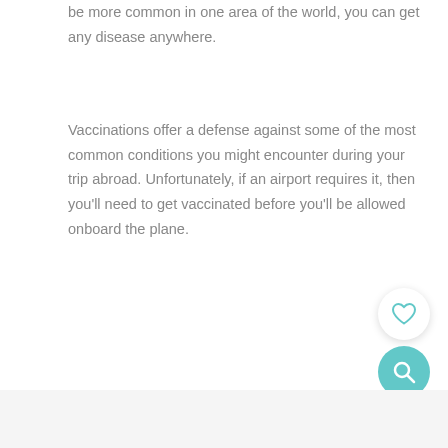be more common in one area of the world, you can get any disease anywhere.
Vaccinations offer a defense against some of the most common conditions you might encounter during your trip abroad. Unfortunately, if an airport requires it, then you’ll need to get vaccinated before you’ll be allowed onboard the plane.
71